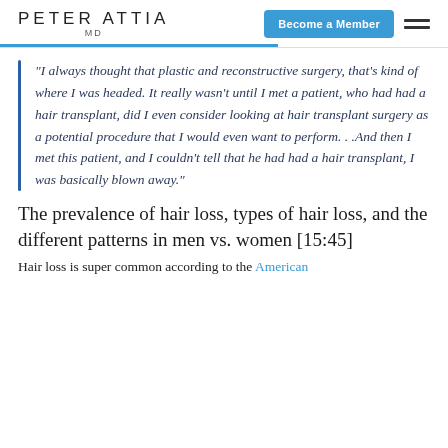PETER ATTIA MD
“I always thought that plastic and reconstructive surgery, that’s kind of where I was headed. It really wasn’t until I met a patient, who had had a hair transplant, did I even consider looking at hair transplant surgery as a potential procedure that I would even want to perform…And then I met this patient, and I couldn’t tell that he had had a hair transplant, I was basically blown away.”
The prevalence of hair loss, types of hair loss, and the different patterns in men vs. women [15:45]
Hair loss is super common according to the American